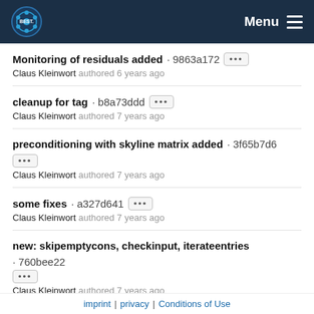BEST logo | Menu
Monitoring of residuals added · 9863a172 [...] Claus Kleinwort authored 6 years ago
cleanup for tag · b8a73ddd [...] Claus Kleinwort authored 7 years ago
preconditioning with skyline matrix added · 3f65b7d6 [...] Claus Kleinwort authored 7 years ago
some fixes · a327d641 [...] Claus Kleinwort authored 7 years ago
new: skipemptycons, checkinput, iterateentries · 760bee22 [...] Claus Kleinwort authored 7 years ago
Solution by elimination for constraints implemented · 4c587a8c [...]
imprint | privacy | Conditions of Use